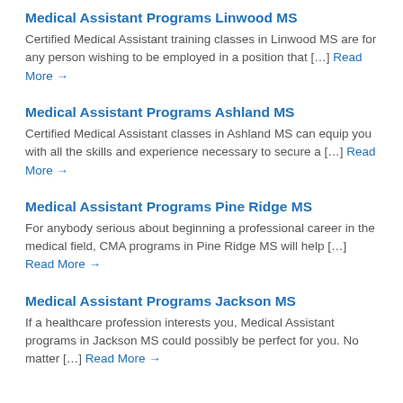[partially visible text at top]
Medical Assistant Programs Linwood MS
Certified Medical Assistant training classes in Linwood MS are for any person wishing to be employed in a position that [...] Read More →
Medical Assistant Programs Ashland MS
Certified Medical Assistant classes in Ashland MS can equip you with all the skills and experience necessary to secure a [...] Read More →
Medical Assistant Programs Pine Ridge MS
For anybody serious about beginning a professional career in the medical field, CMA programs in Pine Ridge MS will help [...] Read More →
Medical Assistant Programs Jackson MS
If a healthcare profession interests you, Medical Assistant programs in Jackson MS could possibly be perfect for you. No matter [...] Read More →